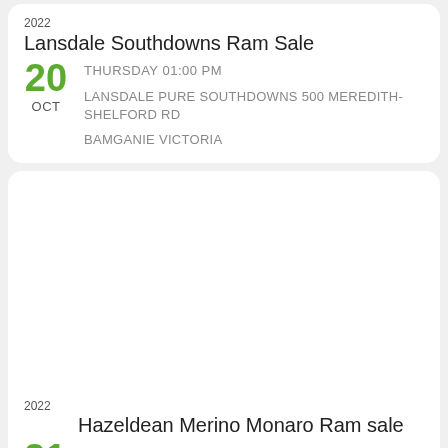2022
Lansdale Southdowns Ram Sale
20
OCT
THURSDAY 01:00 PM
LANSDALE PURE SOUTHDOWNS 500 MEREDITH-SHELFORD RD
BAMGANIE VICTORIA
2022
Hazeldean Merino Monaro Ram sale
21
FRIDAY 01:00 PM